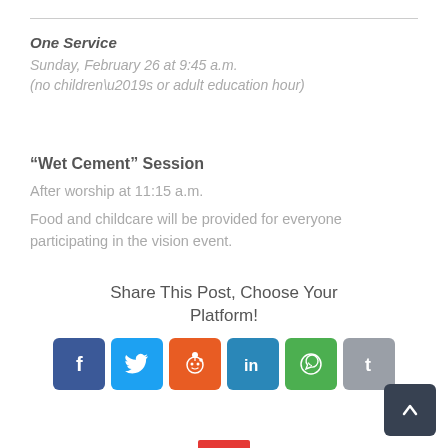One Service
Sunday, February 26 at 9:45 a.m.
(no children’s or adult education hour)
“Wet Cement” Session
After worship at 11:15 a.m.
Food and childcare will be provided for everyone participating in the vision event.
Share This Post, Choose Your Platform!
[Figure (infographic): Social media share buttons: Facebook (blue), Twitter (light blue), Reddit (orange), LinkedIn (teal), WhatsApp (green), Tumblr (dark gray). A scroll-to-top button (dark gray with upward arrow) overlaps the last icon. A red bar appears at the very bottom.]